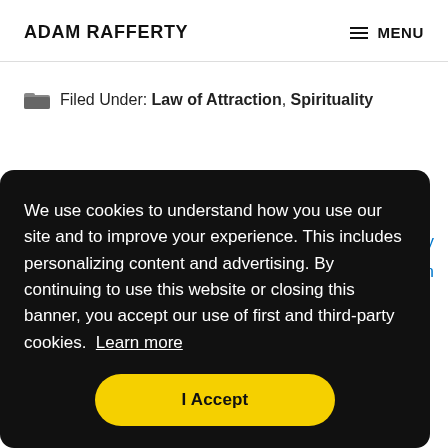ADAM RAFFERTY  MENU
Filed Under: Law of Attraction, Spirituality
We use cookies to understand how you use our site and to improve your experience. This includes personalizing content and advertising. By continuing to use this website or closing this banner, you accept our use of first and third-party cookies. Learn more
I Accept